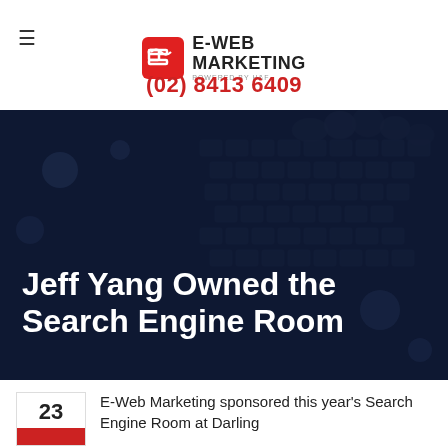[Figure (logo): E-Web Marketing logo with red square icon and hamburger menu]
(02) 8413 6409
[Figure (photo): Dark overlay hero image of hands typing on a keyboard]
Jeff Yang Owned the Search Engine Room
23
E-Web Marketing sponsored this year's Search Engine Room at Darling